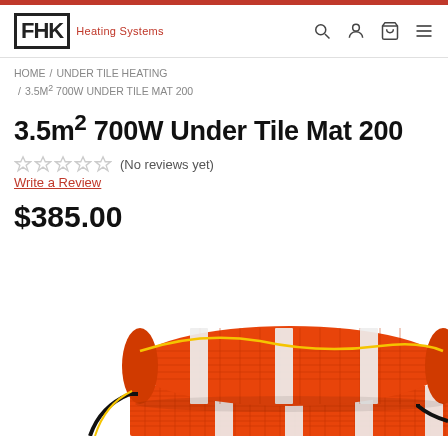FHK Heating Systems
HOME / UNDER TILE HEATING / 3.5M² 700W UNDER TILE MAT 200
3.5m² 700W Under Tile Mat 200
★★★★★ (No reviews yet)
Write a Review
$385.00
[Figure (photo): A rolled up orange under-tile heating mat with white straps and yellow/black cables, partially unrolled showing the red mesh grid, displayed on white background.]